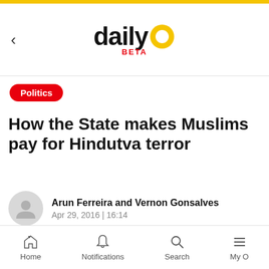daily O BETA
Politics
How the State makes Muslims pay for Hindutva terror
Arun Ferreira and Vernon Gonsalves
Apr 29, 2016 | 16:14
[Figure (photo): Gray placeholder image area with a faint DailyO logo watermark]
Home  Notifications  Search  My O